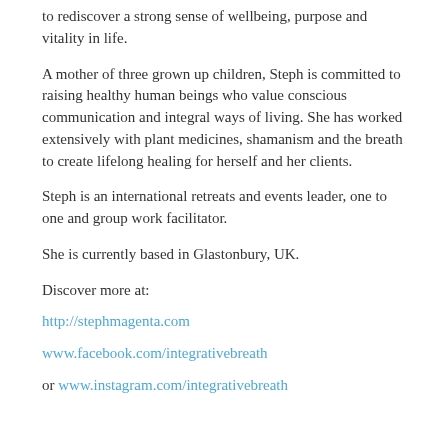to rediscover a strong sense of wellbeing, purpose and vitality in life.
A mother of three grown up children, Steph is committed to raising healthy human beings who value conscious communication and integral ways of living. She has worked extensively with plant medicines, shamanism and the breath to create lifelong healing for herself and her clients.
Steph is an international retreats and events leader, one to one and group work facilitator.
She is currently based in Glastonbury, UK.
Discover more at:
http://stephmagenta.com
www.facebook.com/integrativebreath
or www.instagram.com/integrativebreath